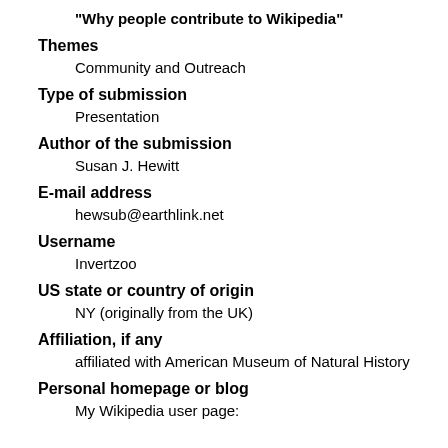"Why people contribute to Wikipedia"
Themes
Community and Outreach
Type of submission
Presentation
Author of the submission
Susan J. Hewitt
E-mail address
hewsub@earthlink.net
Username
Invertzoo
US state or country of origin
NY (originally from the UK)
Affiliation, if any
affiliated with American Museum of Natural History
Personal homepage or blog
My Wikipedia user page: